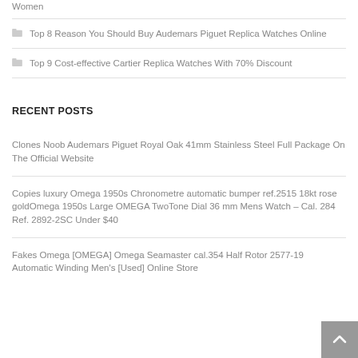Women
Top 8 Reason You Should Buy Audemars Piguet Replica Watches Online
Top 9 Cost-effective Cartier Replica Watches With 70% Discount
RECENT POSTS
Clones Noob Audemars Piguet Royal Oak 41mm Stainless Steel Full Package On The Official Website
Copies luxury Omega 1950s Chronometre automatic bumper ref.2515 18kt rose goldOmega 1950s Large OMEGA TwoTone Dial 36 mm Mens Watch – Cal. 284 Ref. 2892-2SC Under $40
Fakes Omega [OMEGA] Omega Seamaster cal.354 Half Rotor 2577-19 Automatic Winding Men's [Used] Online Store